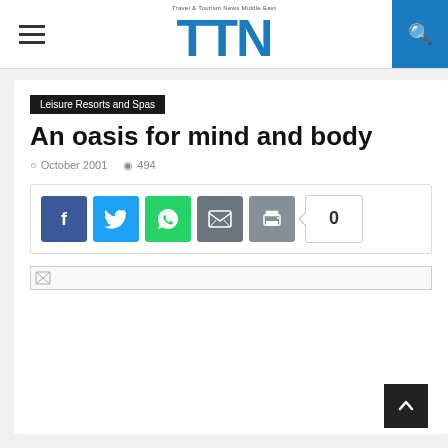TTN — Travel & Tourism News Middle East
Leisure Resorts and Spas
An oasis for mind and body
October 2001  494
[Figure (screenshot): Social share buttons: Facebook, Twitter, WhatsApp, Email, Print, and a share count of 0]
[Figure (photo): Broken image placeholder at top of article content area]